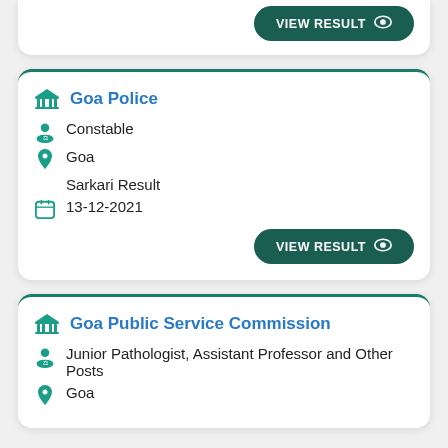[Figure (screenshot): Partial card with VIEW RESULT button at top]
Goa Police
Constable
Goa
Sarkari Result
13-12-2021
[Figure (screenshot): VIEW RESULT button]
Goa Public Service Commission
Junior Pathologist, Assistant Professor and Other Posts
Goa